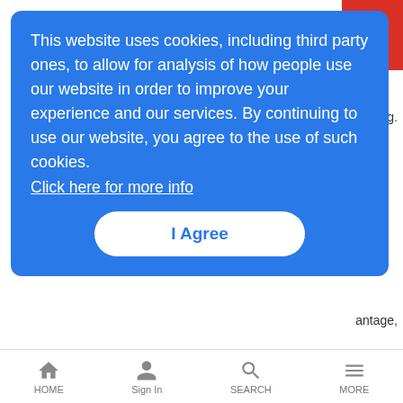[Figure (screenshot): Cookie consent overlay on a website. Blue rounded rectangle popup with white text reading: 'This website uses cookies, including third party ones, to allow for analysis of how people use our website in order to improve your experience and our services. By continuing to use our website, you agree to the use of such cookies. Click here for more info' with an 'I Agree' button below. A red button fragment is visible in the top right corner. Partially visible article text below the overlay.]
This website uses cookies, including third party ones, to allow for analysis of how people use our website in order to improve your experience and our services. By continuing to use our website, you agree to the use of such cookies.
Click here for more info
The Texas carrier, which is also building a gigabit FTTH network, is equipping Boerne Independent School District to be able to integrate technology into its curriculum.
Verizon Pushes 4G LTE for M2M
News Analysis | 8/29/2014
Verizon is expecting more M2M communications to move onto LTE
HOME | Sign In | SEARCH | MORE